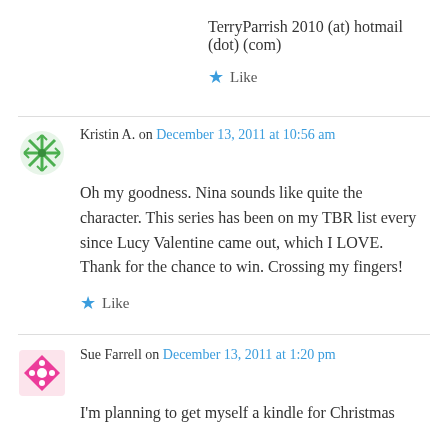TerryParrish 2010 (at) hotmail (dot) (com)
Like
Kristin A. on December 13, 2011 at 10:56 am
Oh my goodness. Nina sounds like quite the character. This series has been on my TBR list every since Lucy Valentine came out, which I LOVE. Thank for the chance to win. Crossing my fingers!
Like
Sue Farrell on December 13, 2011 at 1:20 pm
I'm planning to get myself a kindle for Christmas